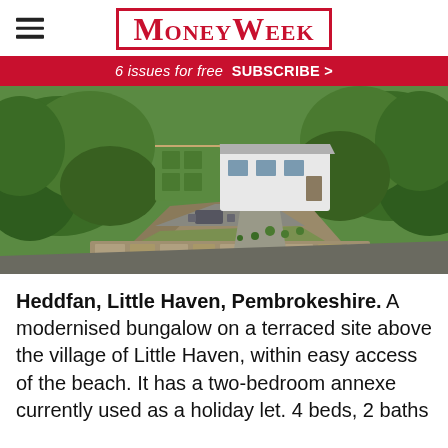MoneyWeek
6 issues for free  SUBSCRIBE >
[Figure (photo): Aerial view of Heddfan bungalow on a terraced site in Little Haven, Pembrokeshire, surrounded by trees and gardens]
Heddfan, Little Haven, Pembrokeshire. A modernised bungalow on a terraced site above the village of Little Haven, within easy access of the beach. It has a two-bedroom annexe currently used as a holiday let. 4 beds, 2 baths